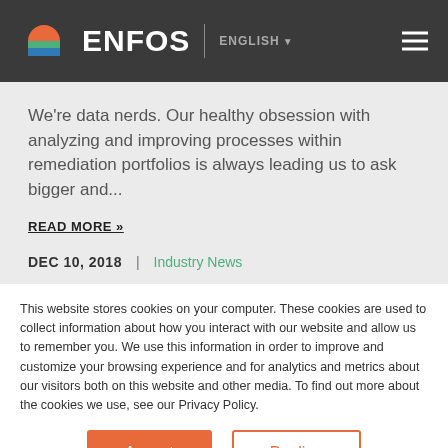ENFOS | ENGLISH
We're data nerds. Our healthy obsession with analyzing and improving processes within remediation portfolios is always leading us to ask bigger and...
READ MORE »
DEC 10, 2018  |  Industry News
This website stores cookies on your computer. These cookies are used to collect information about how you interact with our website and allow us to remember you. We use this information in order to improve and customize your browsing experience and for analytics and metrics about our visitors both on this website and other media. To find out more about the cookies we use, see our Privacy Policy.
Accept | Decline